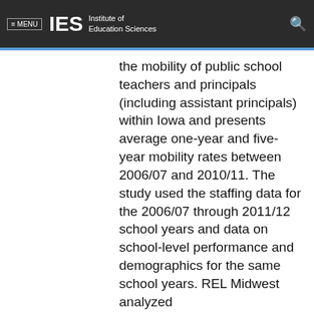≡ MENU  IES  Institute of Education Sciences
the mobility of public school teachers and principals (including assistant principals) within Iowa and presents average one-year and five-year mobility rates between 2006/07 and 2010/11. The study used the staffing data for the 2006/07 through 2011/12 school years and data on school-level performance and demographics for the same school years. REL Midwest analyzed